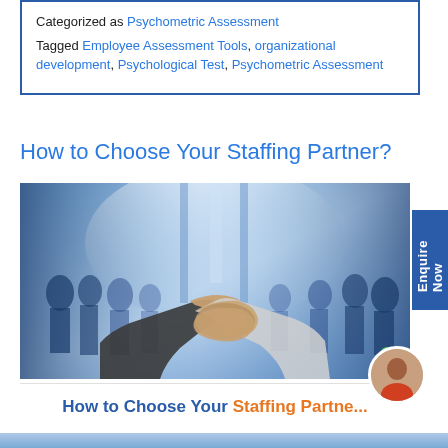Categorized as Psychometric Assessment
Tagged Employee Assessment Tools, organizational development, Psychological Test, Psychometric Assessment
How to Choose Your Staffing Partner?
[Figure (photo): A handshake between two people in business attire, overlaid with a blurry crowd/airport scene in blue tones]
How to Choose Your Staffing Partner?